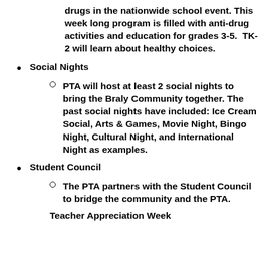drugs in the nationwide school event. This week long program is filled with anti-drug activities and education for grades 3-5. TK-2 will learn about healthy choices.
Social Nights
PTA will host at least 2 social nights to bring the Braly Community together. The past social nights have included: Ice Cream Social, Arts & Games, Movie Night, Bingo Night, Cultural Night, and International Night as examples.
Student Council
The PTA partners with the Student Council to bridge the community and the PTA.
Teacher Appreciation Week